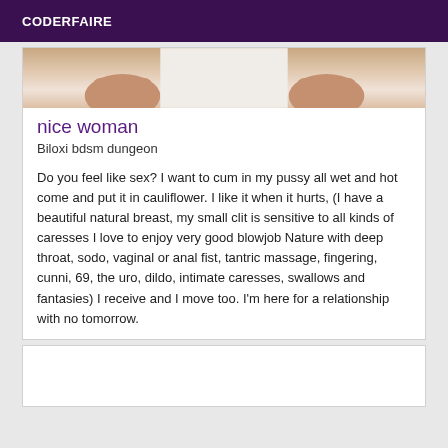CODERFAIRE
[Figure (photo): Cropped photo showing a person in white clothing, visible torso/hands area with skin tones visible]
nice woman
Biloxi bdsm dungeon
Do you feel like sex? I want to cum in my pussy all wet and hot come and put it in cauliflower. I like it when it hurts, (I have a beautiful natural breast, my small clit is sensitive to all kinds of caresses I love to enjoy very good blowjob Nature with deep throat, sodo, vaginal or anal fist, tantric massage, fingering, cunni, 69, the uro, dildo, intimate caresses, swallows and fantasies) I receive and I move too. I'm here for a relationship with no tomorrow.